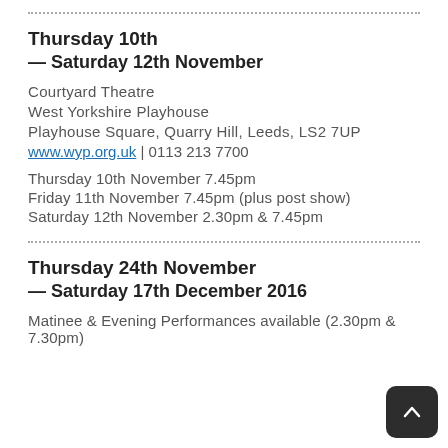Thursday 10th
— Saturday 12th November
Courtyard Theatre
West Yorkshire Playhouse
Playhouse Square, Quarry Hill, Leeds, LS2 7UP
www.wyp.org.uk | 0113 213 7700
Thursday 10th November 7.45pm
Friday 11th November 7.45pm (plus post show)
Saturday 12th November 2.30pm & 7.45pm
Thursday 24th November
— Saturday 17th December 2016
Matinee & Evening Performances available (2.30pm & 7.30pm)